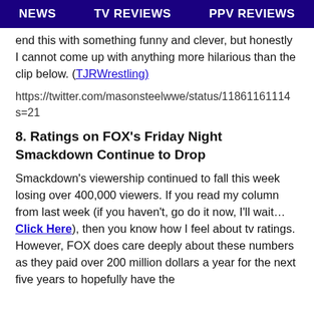NEWS   TV REVIEWS   PPV REVIEWS
end this with something funny and clever, but honestly I cannot come up with anything more hilarious than the clip below. (TJRWrestling)
https://twitter.com/masonsteelwwe/status/11861161114 s=21
8. Ratings on FOX’s Friday Night Smackdown Continue to Drop
Smackdown’s viewership continued to fall this week losing over 400,000 viewers. If you read my column from last week (if you haven’t, go do it now, I’ll wait…Click Here), then you know how I feel about tv ratings. However, FOX does care deeply about these numbers as they paid over 200 million dollars a year for the next five years to hopefully have the